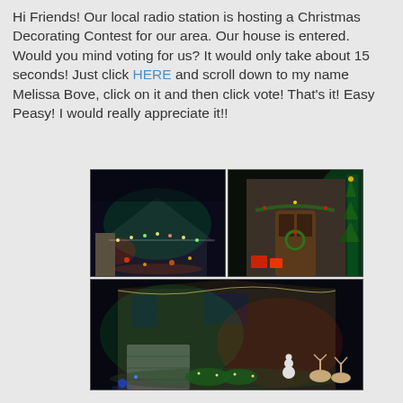Hi Friends! Our local radio station is hosting a Christmas Decorating Contest for our area. Our house is entered. Would you mind voting for us? It would only take about 15 seconds! Just click HERE and scroll down to my name Melissa Bove, click on it and then click vote! That's it! Easy Peasy! I would really appreciate it!!
[Figure (photo): Top-left photo of a house decorated with Christmas lights at night, green and red lights illuminating the front]
[Figure (photo): Top-right photo of the front door area decorated with Christmas wreath, garlands, and colored lights]
[Figure (photo): Bottom wide photo of the full house front decorated with Christmas lights including green and red spotlights, garage visible, snowman and reindeer decorations on lawn]